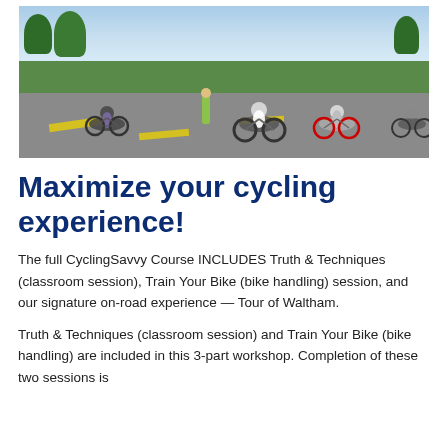[Figure (photo): People riding bicycles in a parking lot during a cycling skills session. Trees and blue sky visible in background.]
Maximize your cycling experience!
The full CyclingSavvy Course INCLUDES Truth & Techniques (classroom session), Train Your Bike (bike handling) session, and our signature on-road experience — Tour of Waltham.
Truth & Techniques (classroom session) and Train Your Bike (bike handling) are included in this 3-part workshop. Completion of these two sessions is